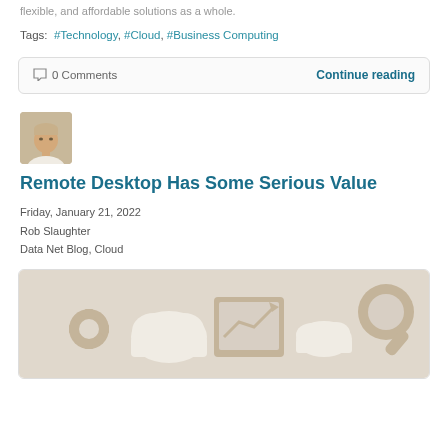flexible, and affordable solutions as a whole.
Tags: #Technology, #Cloud, #Business Computing
○ 0 Comments   Continue reading
[Figure (photo): Author headshot - man with light hair]
Remote Desktop Has Some Serious Value
Friday, January 21, 2022
Rob Slaughter
Data Net Blog, Cloud
[Figure (illustration): Technology icons on beige background: gear, cloud, chart with arrow, cloud with upload, magnifying glass]